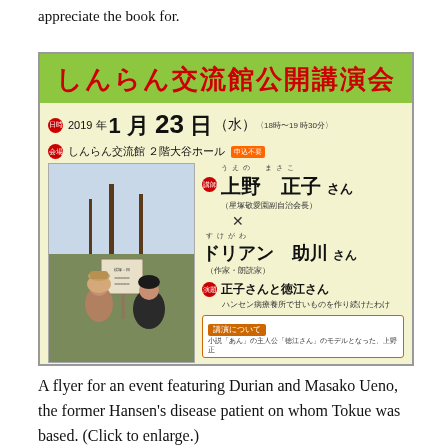appreciate the book for.
[Figure (photo): A Japanese event flyer for a public lecture at Shinran Koryu-kan. Features title in red Japanese characters on green background, date 2019年1月23日（水）18時〜19時30分, venue しんらん交流館2階大谷ホール, speakers 上野正子さん and ドリアン助川さん, theme 正子さんと徳江さん ハンセン病療養所で甘いものを作り続けたわけ, with a photo of two people sitting outdoors near a sign.]
A flyer for an event featuring Durian and Masako Ueno, the former Hansen's disease patient on whom Tokue was based. (Click to enlarge.)